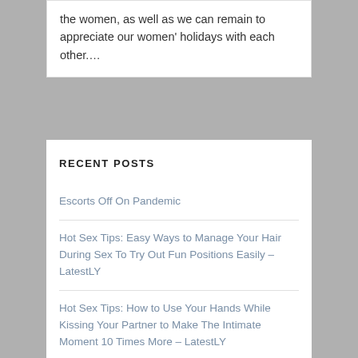the women, as well as we can remain to appreciate our women' holidays with each other….
RECENT POSTS
Escorts Off On Pandemic
Hot Sex Tips: Easy Ways to Manage Your Hair During Sex To Try Out Fun Positions Easily – LatestLY
Hot Sex Tips: How to Use Your Hands While Kissing Your Partner to Make The Intimate Moment 10 Times More – LatestLY
Did You Kno...